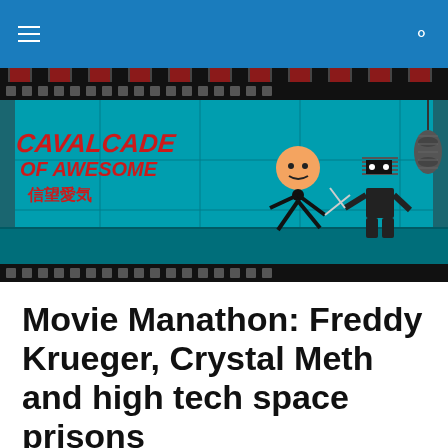Navigation bar with hamburger menu and search icon
[Figure (illustration): Cavalcade of Awesome blog banner with logo text in red stylized font reading 'Cavalcade of Awesome' with Japanese characters '信望愛気', showing a cartoon person with a real face running from a ninja character on a teal tiled floor background, with decorative lanterns on the right side, framed by film-strip edges]
Movie Manathon: Freddy Krueger, Crystal Meth and high tech space prisons
Steph went to visit her parents last week, so I took the time to watch several movies and TV shows she wants nothing to do with.  I've done this several times before, and